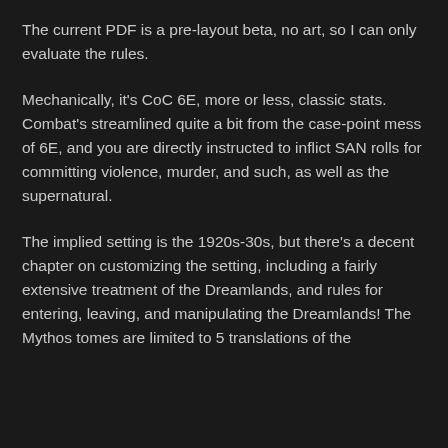The current PDF is a pre-layout beta, no art, so I can only evaluate the rules.
Mechanically, it's CoC 6E, more or less, classic stats. Combat's streamlined quite a bit from the case-point mess of 6E, and you are directly instructed to inflict SAN rolls for committing violence, murder, and such, as well as the supernatural.
The implied setting is the 1920s-30s, but there's a decent chapter on customizing the setting, including a fairly extensive treatment of the Dreamlands, and rules for entering, leaving, and manipulating the Dreamlands! The Mythos tomes are limited to 5 translations of the